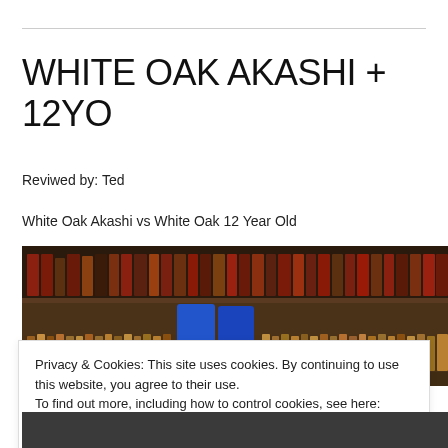WHITE OAK AKASHI + 12YO
Reviwed by: Ted
White Oak Akashi vs White Oak 12 Year Old
[Figure (photo): A bar shelf with many whisky bottles on shelves, showing a wide collection of spirits with blue containers visible in the center.]
Privacy & Cookies: This site uses cookies. By continuing to use this website, you agree to their use.
To find out more, including how to control cookies, see here: Cookie Policy
Close and accept